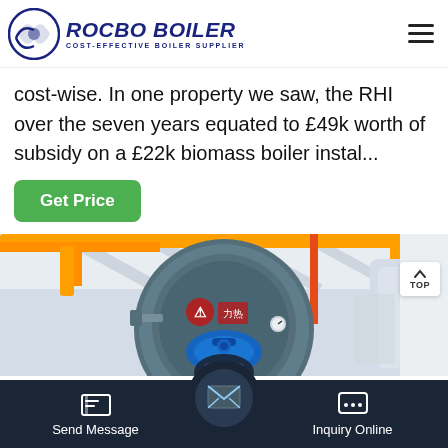ROCBO BOILER - COST-EFFECTIVE BOILER SUPPLIER
cost-wise. In one property we saw, the RHI over the seven years equated to £49k worth of subsidy on a £22k biomass boiler instal...
Get Price
[Figure (photo): Industrial boiler room showing a large gray cylindrical boiler with yellow overhead crane beams, orange and red piping, blue valve components at the front, and a white industrial building interior in the background.]
Send Message | Inquiry Online